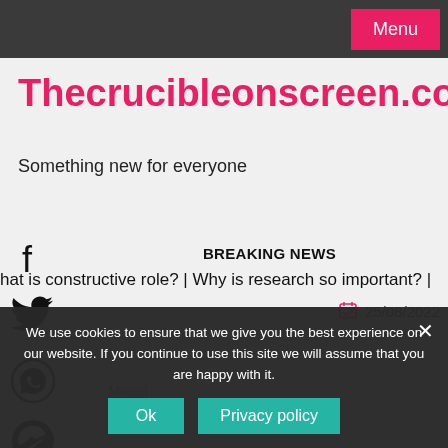Menu
Thecrucibleonscreen.com
Something new for everyone
BREAKING NEWS
hat is constructive role?  |  Why is research so important?  |
25/08/2022
Mixed
We use cookies to ensure that we give you the best experience on our website. If you continue to use this site we will assume that you are happy with it.